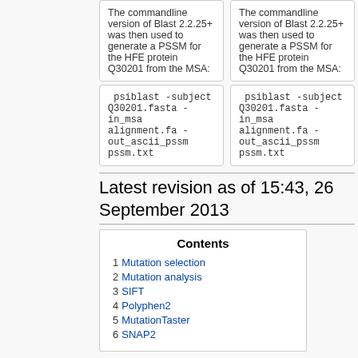The commandline version of Blast 2.2.25+ was then used to generate a PSSM for the HFE protein Q30201 from the MSA:
The commandline version of Blast 2.2.25+ was then used to generate a PSSM for the HFE protein Q30201 from the MSA:
psiblast -subject Q30201.fasta -in_msa alignment.fa -out_ascii_pssm pssm.txt
psiblast -subject Q30201.fasta -in_msa alignment.fa -out_ascii_pssm pssm.txt
Latest revision as of 15:43, 26 September 2013
1  Mutation selection
2  Mutation analysis
3  SIFT
4  Polyphen2
5  MutationTaster
6  SNAP2